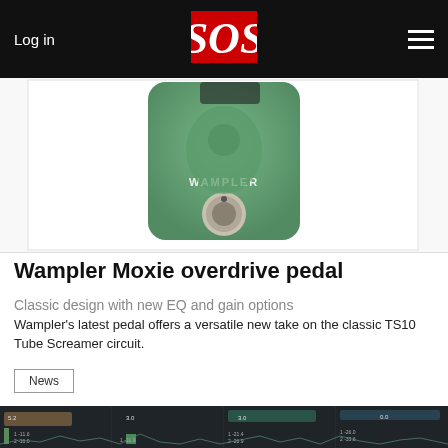Log in  SOS  [menu]
[Figure (photo): Photo of Wampler Moxie overdrive pedal - small green guitar effects pedal with a knob in the center showing the Wampler logo]
Wampler Moxie overdrive pedal
Classic design with new EQ and gain options
Wampler's latest pedal offers a versatile new take on the classic TS10 Tube Screamer circuit.
News
[Figure (screenshot): DAW screenshot showing multiple audio tracks with meters, waveforms, and level indicators including values like 5.2, 3.0, -11.6, -16.0, -16.9, -21.4, -26.9, -26.0, -33.6]